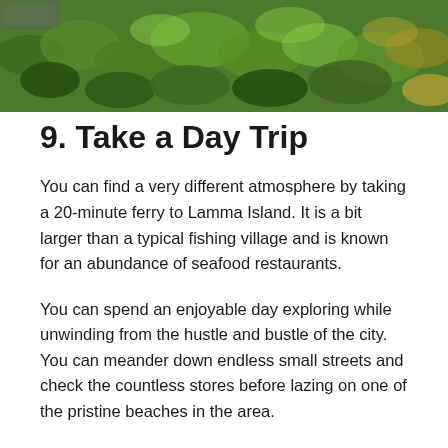[Figure (photo): Aerial or hillside view of lush green tropical vegetation with dense foliage]
9. Take a Day Trip
You can find a very different atmosphere by taking a 20-minute ferry to Lamma Island. It is a bit larger than a typical fishing village and is known for an abundance of seafood restaurants.
You can spend an enjoyable day exploring while unwinding from the hustle and bustle of the city. You can meander down endless small streets and check the countless stores before lazing on one of the pristine beaches in the area.